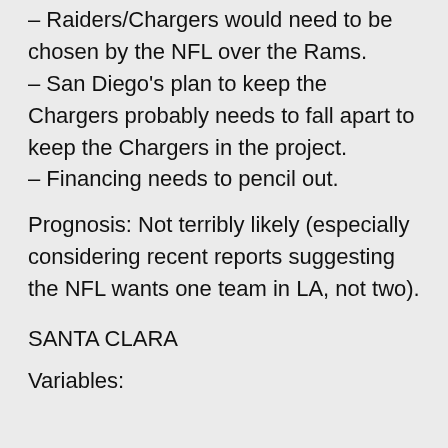– Raiders/Chargers would need to be chosen by the NFL over the Rams.
– San Diego's plan to keep the Chargers probably needs to fall apart to keep the Chargers in the project.
– Financing needs to pencil out.
Prognosis: Not terribly likely (especially considering recent reports suggesting the NFL wants one team in LA, not two).
SANTA CLARA
Variables: